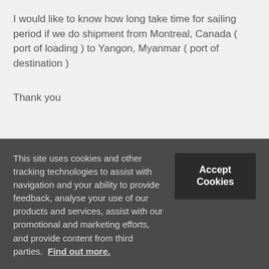I would like to know how long take time for sailing period if we do shipment from Montreal, Canada ( port of loading ) to Yangon, Myanmar ( port of destination )
Thank you
Log in to Reply
This site uses cookies and other tracking technologies to assist with navigation and your ability to provide feedback, analyse your use of our products and services, assist with our promotional and marketing efforts, and provide content from third parties. Find out more.